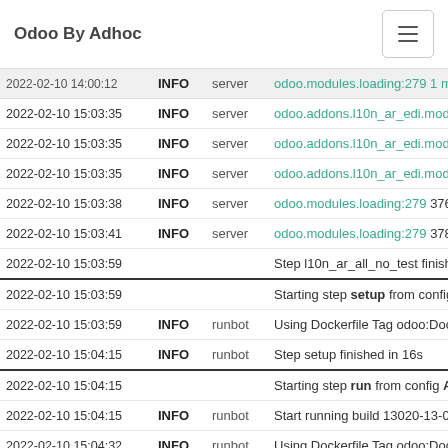Odoo By Adhoc
| datetime | level | source | message |
| --- | --- | --- | --- |
| 2022-02-10 14:00:12 | INFO | server | odoo.modules.loading:279 1 m… |
| 2022-02-10 15:03:35 | INFO | server | odoo.addons.l10n_ar_edi.mod… |
| 2022-02-10 15:03:35 | INFO | server | odoo.addons.l10n_ar_edi.mod… |
| 2022-02-10 15:03:35 | INFO | server | odoo.addons.l10n_ar_edi.mod… |
| 2022-02-10 15:03:38 | INFO | server | odoo.modules.loading:279 376… |
| 2022-02-10 15:03:41 | INFO | server | odoo.modules.loading:279 378… |
| 2022-02-10 15:03:59 |  |  | Step l10n_ar_all_no_test finish… |
| 2022-02-10 15:03:59 |  |  | Starting step setup from config… |
| 2022-02-10 15:03:59 | INFO | runbot | Using Dockerfile Tag odoo:Doc… |
| 2022-02-10 15:04:15 | INFO | runbot | Step setup finished in 16s |
| 2022-02-10 15:04:15 |  |  | Starting step run from config A… |
| 2022-02-10 15:04:15 | INFO | runbot | Start running build 13020-13-0… |
| 2022-02-10 15:04:32 | INFO | runbot | Using Dockerfile Tag odoo:Doc… |
| 2022-02-10 15:07:49 | INFO | server | odoo.modules.loading:279 1 m… |